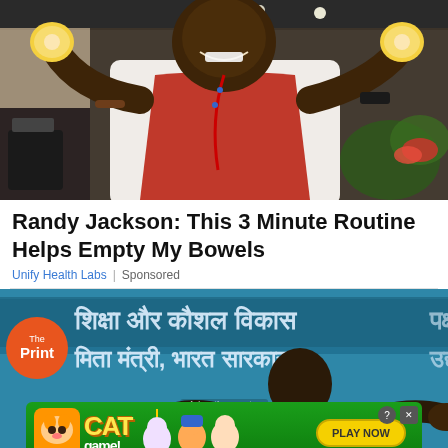[Figure (photo): Man in red apron holding up two lemon halves, smiling, in a kitchen setting]
Randy Jackson: This 3 Minute Routine Helps Empty My Bowels
Unify Health Labs | Sponsored
[Figure (photo): News article page with Hindi text about education and skill development, man with raised hands visible, The Print logo overlay, with a Cat Game advertisement banner at the bottom]